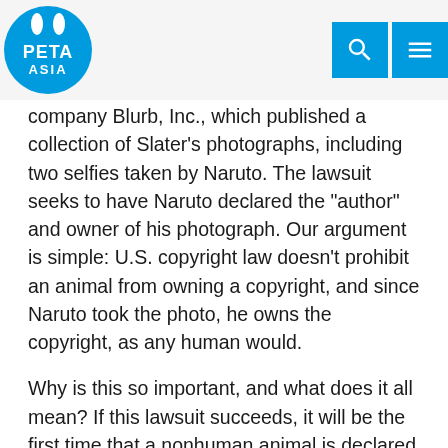PETA ASIA
company Blurb, Inc., which published a collection of Slater’s photographs, including two selfies taken by Naruto. The lawsuit seeks to have Naruto declared the “author” and owner of his photograph. Our argument is simple: U.S. copyright law doesn’t prohibit an animal from owning a copyright, and since Naruto took the photo, he owns the copyright, as any human would.
Why is this so important, and what does it all mean? If this lawsuit succeeds, it will be the first time that a nonhuman animal is declared the owner of property (the copyright of the “monkey selfie”), rather than being declared a piece of property himself or herself. It will also be the first time that a right is extended to a nonhuman animal beyond just the mere basic necessities of food, shelter, water, and veterinary care